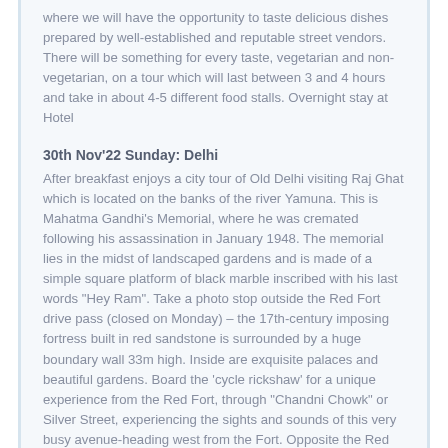where we will have the opportunity to taste delicious dishes prepared by well-established and reputable street vendors. There will be something for every taste, vegetarian and non-vegetarian, on a tour which will last between 3 and 4 hours and take in about 4-5 different food stalls. Overnight stay at Hotel
30th Nov'22 Sunday: Delhi
After breakfast enjoys a city tour of Old Delhi visiting Raj Ghat which is located on the banks of the river Yamuna. This is Mahatma Gandhi's Memorial, where he was cremated following his assassination in January 1948. The memorial lies in the midst of landscaped gardens and is made of a simple square platform of black marble inscribed with his last words "Hey Ram". Take a photo stop outside the Red Fort drive pass (closed on Monday) – the 17th-century imposing fortress built in red sandstone is surrounded by a huge boundary wall 33m high. Inside are exquisite palaces and beautiful gardens. Board the 'cycle rickshaw' for a unique experience from the Red Fort, through "Chandni Chowk" or Silver Street, experiencing the sights and sounds of this very busy avenue-heading west from the Fort. Opposite the Red Fort lies Jama Masjid (Friday Mosque) made of red sandstone and white marble, completed in 1656. It is India's largest mosque where more than 20,000 people can kneel in prayer at one time. Evening enjoys special (Kite Flying & Hi-Tea (4 to 6 PM). Fly kites at the rooftop of Haveli Dharampura along with a lavish 3 course Hi-Tea. It is